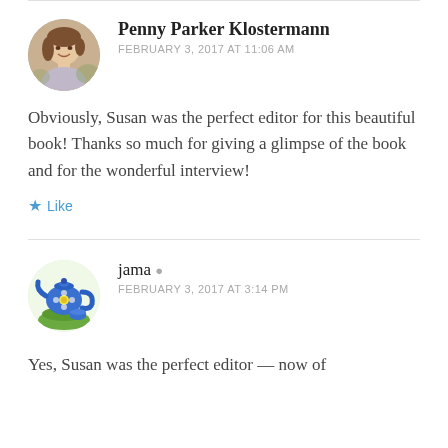[Figure (photo): Circular avatar photo of Penny Parker Klostermann, a woman with short brown hair]
Penny Parker Klostermann
FEBRUARY 3, 2017 AT 11:06 AM
Obviously, Susan was the perfect editor for this beautiful book! Thanks so much for giving a glimpse of the book and for the wonderful interview!
Like
[Figure (illustration): Circular avatar illustration of a blue teapot with flowers on a green surface]
jama
FEBRUARY 3, 2017 AT 3:14 PM
Yes, Susan was the perfect editor — now of